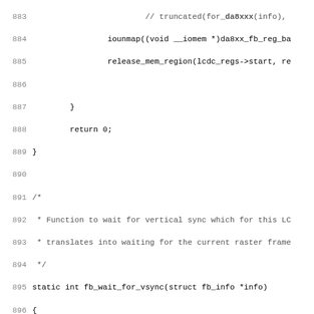[Figure (screenshot): Source code listing in monospace font showing C code lines 883-915, including iounmap, release_mem_region, return 0, closing brace, a block comment about fb_wait_for_vsync function, the static function definition, struct and int declarations, another block comment about vsync flag race condition, and par->vsync_flag = 0 and wait_event_interruptible_timeout calls.]